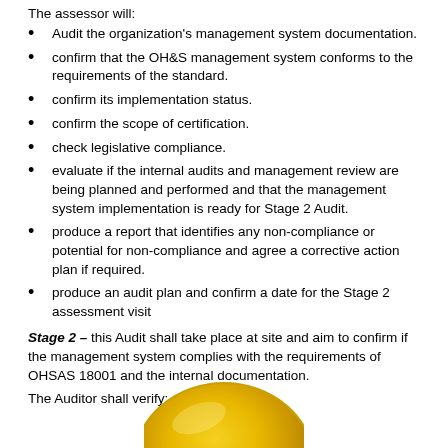The assessor will:
Audit the organization's management system documentation.
confirm that the OH&S management system conforms to the requirements of the standard.
confirm its implementation status.
confirm the scope of certification.
check legislative compliance.
evaluate if the internal audits and management review are being planned and performed and that the management system implementation is ready for Stage 2 Audit.
produce a report that identifies any non-compliance or potential for non-compliance and agree a corrective action plan if required.
produce an audit plan and confirm a date for the Stage 2 assessment visit
Stage 2 – this Audit shall take place at site and aim to confirm if the management system complies with the requirements of OHSAS 18001 and the internal documentation.
The Auditor shall verify:
[Figure (photo): Partial image of a yellow hard hat/safety helmet at the bottom of the page]